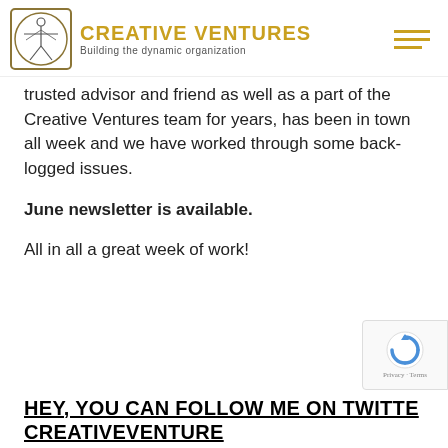Creative Ventures — Building the dynamic organization
trusted advisor and friend as well as a part of the Creative Ventures team for years, has been in town all week and we have worked through some back-logged issues.
June newsletter is available.
All in all a great week of work!
HEY, YOU CAN FOLLOW ME ON TWITTER CREATIVEVENTURE